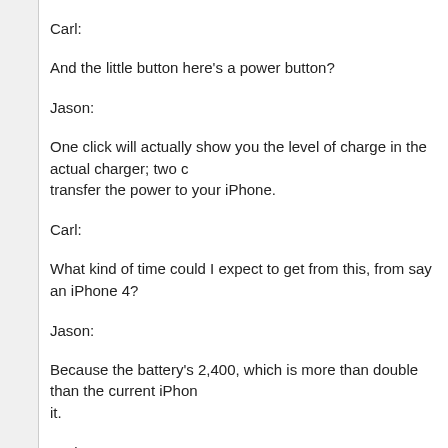Carl:
And the little button here's a power button?
Jason:
One click will actually show you the level of charge in the actual charger; two clicks will transfer the power to your iPhone.
Carl:
What kind of time could I expect to get from this, from say an iPhone 4?
Jason:
Because the battery's 2,400, which is more than double than the current iPhone, it will double it.
Carl:
So I'm obviously looking at the iPhone 4 version, and you've got some other d
Jason: